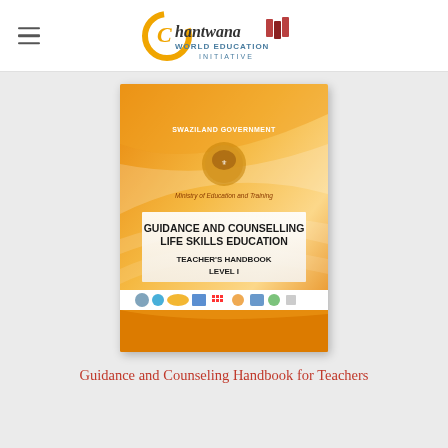[Figure (logo): Chantwana World Education Initiative logo with orange circular C graphic and book icons]
[Figure (photo): Book cover: Swaziland Government Ministry of Education and Training - Guidance and Counselling Life Skills Education Teacher's Handbook Level 1, with orange background and partner organization logos at bottom]
Guidance and Counseling Handbook for Teachers